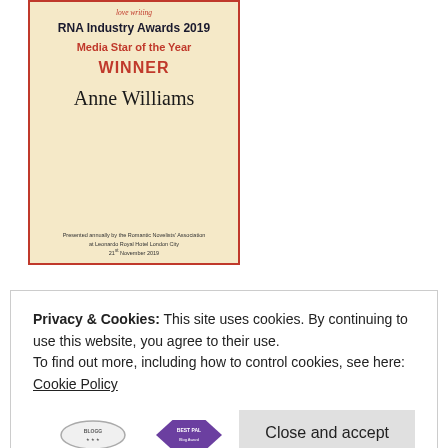[Figure (photo): Award certificate image on aged cream/parchment background with red border. Shows RNA Industry Awards 2019, Media Star of the Year, WINNER, Anne Williams. Footer text: Presented annually by the Romantic Novelists' Association at Leonardo Royal Hotel London City, 21st November 2019.]
Privacy & Cookies: This site uses cookies. By continuing to use this website, you agree to their use.
To find out more, including how to control cookies, see here: Cookie Policy
[Figure (logo): Two partially visible badges at the bottom: a circular BLOGG badge and a hexagonal Best Pal badge in purple.]